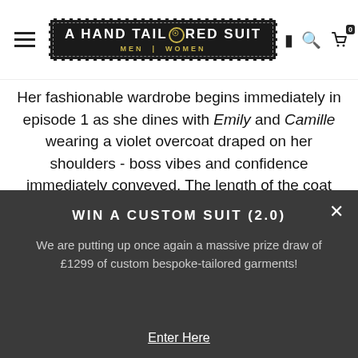A HAND TAILORED SUIT MEN | WOMEN
Her fashionable wardrobe begins immediately in episode 1 as she dines with Emily and Camille wearing a violet overcoat draped on her shoulders - boss vibes and confidence immediately conveyed. The length of the coat falls to just above her ankles, whilst the peak lapels are wide and ensure the sharp point is noticed indeed. What a great way to remind you of Sylvie's identity if you had forgotten from season 1!
WIN A CUSTOM SUIT (2.0)
We are putting up once again a massive prize draw of £1299 of custom bespoke-tailored garments!
Enter Here